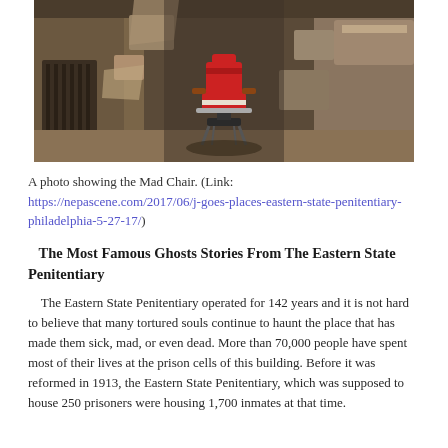[Figure (photo): A photo showing a red barber chair sitting in a decaying, crumbling stone corridor of Eastern State Penitentiary. The walls are broken and weathered, with debris on the floor.]
A photo showing the Mad Chair. (Link: https://nepascene.com/2017/06/j-goes-places-eastern-state-penitentiary-philadelphia-5-27-17/)
The Most Famous Ghosts Stories From The Eastern State Penitentiary
The Eastern State Penitentiary operated for 142 years and it is not hard to believe that many tortured souls continue to haunt the place that has made them sick, mad, or even dead. More than 70,000 people have spent most of their lives at the prison cells of this building. Before it was reformed in 1913, the Eastern State Penitentiary, which was supposed to house 250 prisoners were housing 1,700 inmates at that time.